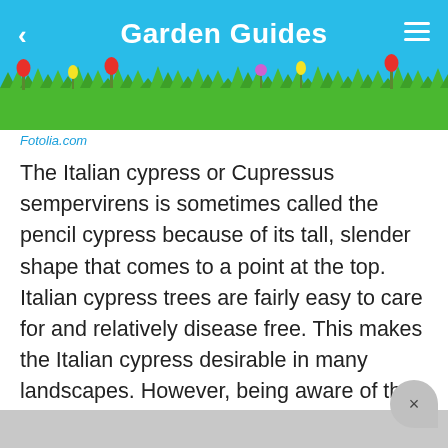Garden Guides
[Figure (illustration): Garden scene header with grass, flowers, tulips, and a white rabbit on a cyan/blue background.]
Fotolia.com
The Italian cypress or Cupressus sempervirens is sometimes called the pencil cypress because of its tall, slender shape that comes to a point at the top. Italian cypress trees are fairly easy to care for and relatively disease free. This makes the Italian cypress desirable in many landscapes. However, being aware of the disease that can affect these gentle giants and how to treat them can save your Italian cypress.